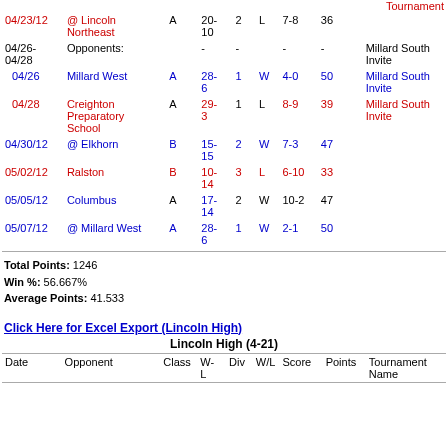| Date | Opponent | Class | W-L | Div | W/L | Score | Points | Tournament Name |
| --- | --- | --- | --- | --- | --- | --- | --- | --- |
| 04/23/12 | @ Lincoln Northeast | A | 20-10 | 2 | L | 7-8 | 36 | Tournament |
| 04/26-04/28 | Opponents: |  | - | - |  | - | - | Millard South Invite |
| 04/26 | Millard West | A | 28-6 | 1 | W | 4-0 | 50 | Millard South Invite |
| 04/28 | Creighton Preparatory School | A | 29-3 | 1 | L | 8-9 | 39 | Millard South Invite |
| 04/30/12 | @ Elkhorn | B | 15-15 | 2 | W | 7-3 | 47 |  |
| 05/02/12 | Ralston | B | 10-14 | 3 | L | 6-10 | 33 |  |
| 05/05/12 | Columbus | A | 17-14 | 2 | W | 10-2 | 47 |  |
| 05/07/12 | @ Millard West | A | 28-6 | 1 | W | 2-1 | 50 |  |
Total Points: 1246
Win %: 56.667%
Average Points: 41.533
Click Here for Excel Export (Lincoln High)
Lincoln High (4-21)
| Date | Opponent | Class | W-L | Div | W/L | Score | Points | Tournament Name |
| --- | --- | --- | --- | --- | --- | --- | --- | --- |